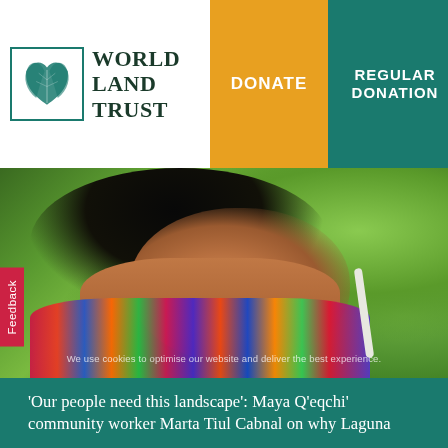World Land Trust | DONATE | REGULAR DONATION
[Figure (photo): Portrait photo of Maya Q'eqchi' community worker Marta Tiul Cabnal, a young woman wearing traditional colorful clothing with gold earrings, photographed in profile against a green leafy background]
We use cookies to optimise our website and deliver the best experience.
'Our people need this landscape': Maya Q'eqchi' community worker Marta Tiul Cabnal on why Laguna